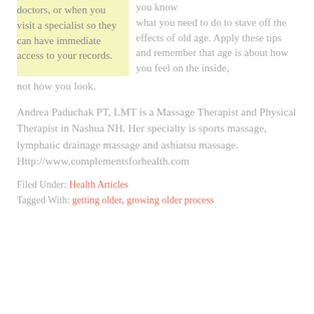doctors, or when you visit a specialist so they can have immediate access to your records.
you know what you need to do to stave off the effects of old age. Apply these tips and remember that age is about how you feel on the inside, not how you look.
Andrea Paduchak PT, LMT is a Massage Therapist and Physical Therapist in Nashua NH. Her specialty is sports massage, lymphatic drainage massage and ashiatsu massage. Http://www.complementsforhealth.com
Filed Under: Health Articles
Tagged With: getting older, growing older process